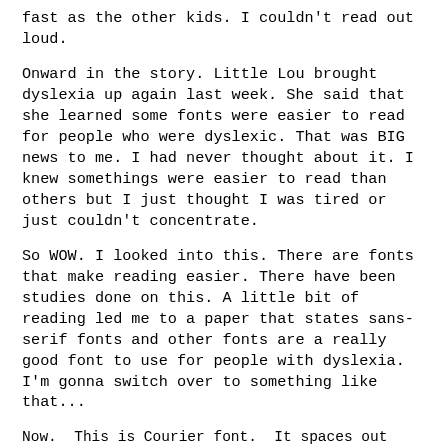fast as the other kids. I couldn't read out loud.
Onward in the story. Little Lou brought dyslexia up again last week. She said that she learned some fonts were easier to read for people who were dyslexic. That was BIG news to me. I had never thought about it. I knew somethings were easier to read than others but I just thought I was tired or just couldn't concentrate.
So WOW. I looked into this. There are fonts that make reading easier. There have been studies done on this. A little bit of reading led me to a paper that states sans-serif fonts and other fonts are a really good font to use for people with dyslexia. I'm gonna switch over to something like that...
Now.  This is Courier font.  It spaces out letters a little more and most of the letters look different enough to stop mirror imaging.  There are two spaces between each sentences that helps break it up.  There are also fonts designed with dyslexia in mind like OpenDyslexic.